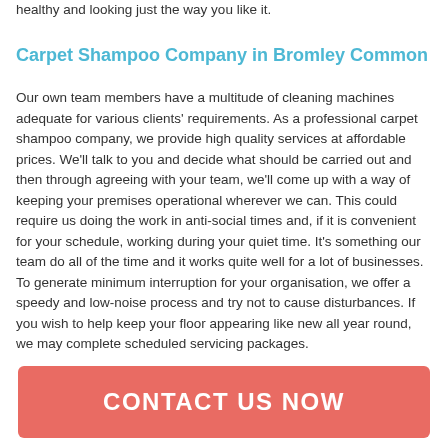healthy and looking just the way you like it.
Carpet Shampoo Company in Bromley Common
Our own team members have a multitude of cleaning machines adequate for various clients' requirements. As a professional carpet shampoo company, we provide high quality services at affordable prices. We'll talk to you and decide what should be carried out and then through agreeing with your team, we'll come up with a way of keeping your premises operational wherever we can. This could require us doing the work in anti-social times and, if it is convenient for your schedule, working during your quiet time. It's something our team do all of the time and it works quite well for a lot of businesses. To generate minimum interruption for your organisation, we offer a speedy and low-noise process and try not to cause disturbances. If you wish to help keep your floor appearing like new all year round, we may complete scheduled servicing packages.
CONTACT US NOW